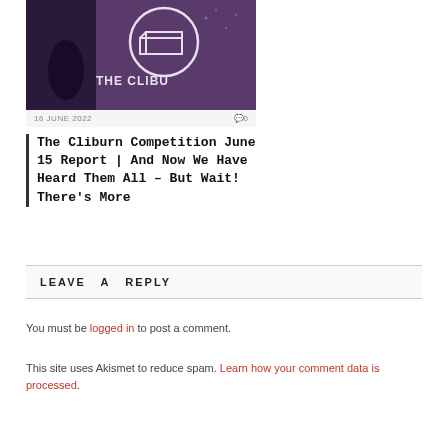[Figure (photo): Concert/event photo showing a piano logo/neon sign that reads 'THE CLIBURN' with a person visible in front, purple/dark background]
16 JUNE 2022   💬0
The Cliburn Competition June 15 Report | And Now We Have Heard Them All – But Wait! There's More
LEAVE A REPLY
You must be logged in to post a comment.
This site uses Akismet to reduce spam. Learn how your comment data is processed.